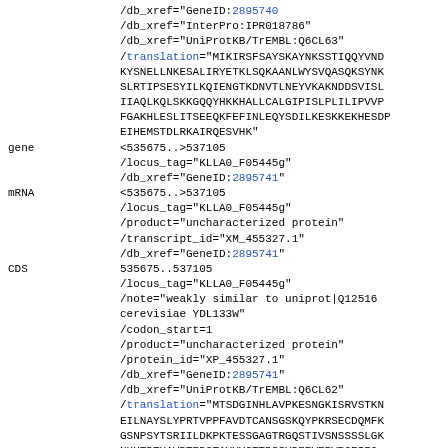/db_xref="GeneID:2895740"
/db_xref="InterPro:IPR018786"
/db_xref="UniProtKB/TrEMBL:Q6CL63"
/translation="MIKIRSFSAYSKAYNKSSTIQQYVND
KYSNELLNKESALIRYETKLSQKAANLWYSVQASQKSYNK
SLRTIPSESYILKQIENGTKDNVTLNEYVKAKNDDSVISL
IIAQLKQLSKKGQQYHKKHALLCALGIPISLPLILIPVVP
FGAKHLESLITSEEQKFEFINLEQYSDILKESKKEKHESD
EIHEMSTDLRKAIRQESVHK"
gene
<535675..>537105
/locus_tag="KLLA0_F05445g"
/db_xref="GeneID:2895741"
mRNA
<535675..>537105
/locus_tag="KLLA0_F05445g"
/product="uncharacterized protein"
/transcript_id="XM_455327.1"
/db_xref="GeneID:2895741"
CDS
535675..537105
/locus_tag="KLLA0_F05445g"
/note="weakly similar to uniprot|Q12516
cerevisiae YDL133W"
/codon_start=1
/product="uncharacterized protein"
/protein_id="XP_455327.1"
/db_xref="GeneID:2895741"
/db_xref="UniProtKB/TrEMBL:Q6CL62"
/translation="MTSDGINHLAVPKESNGKISRVSTKNM
EILNAYSLYPRTVPPFAVDTCANSGSKQYPKRSECDQMFK
GSNPSYTSRIILDKPKTESSGAGTRGQSTIVSNSSSSSLGK
NKHTDTHAVDTEDGTAYYYGHTTDSSYDEEVERVRQEIFQ
PIPESYELSNQRDKNEWLKYVSQLKAFYYLNKDSAKQSSE
SVNSKKNSWATLEQRKKQQWLPRLRRLLLQSQLYLPLSLRF
NSDSTVESFESSIRQQRSTIMALCVNSTATLYLVXIGXDE